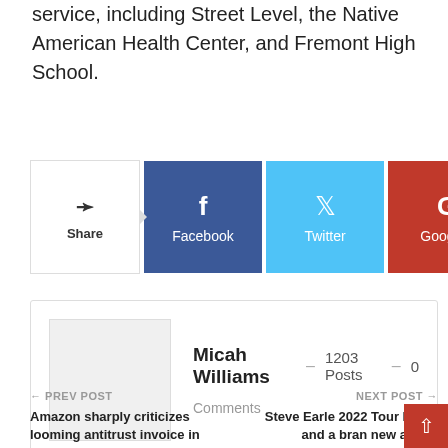service, including Street Level, the Native American Health Center, and Fremont High School.
[Figure (infographic): Social share buttons: Share, Facebook, Twitter, Google+, and a more (+) button]
Micah Williams  –  1203 Posts  –  0 Comments
← PREV POST
Amazon sharply criticizes looming antitrust invoice in
NEXT POST →
Steve Earle 2022 Tour Dates and a brand new album